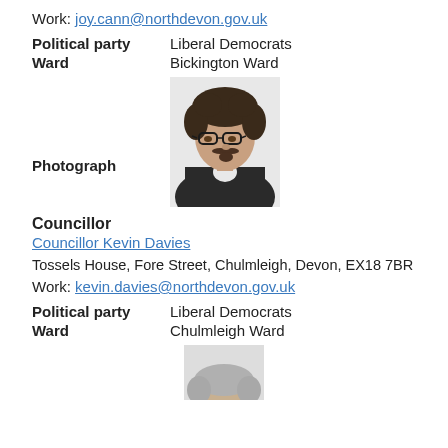Work: joy.cann@northdevon.gov.uk
Political party   Liberal Democrats
Ward   Bickington Ward
[Figure (photo): Portrait photograph of a man with curly dark hair, glasses, and a goatee, wearing a dark jacket]
Councillor
Councillor Kevin Davies
Tossels House, Fore Street, Chulmleigh, Devon, EX18 7BR
Work: kevin.davies@northdevon.gov.uk
Political party   Liberal Democrats
Ward   Chulmleigh Ward
[Figure (photo): Partial portrait photograph of another councillor, only top of head visible]